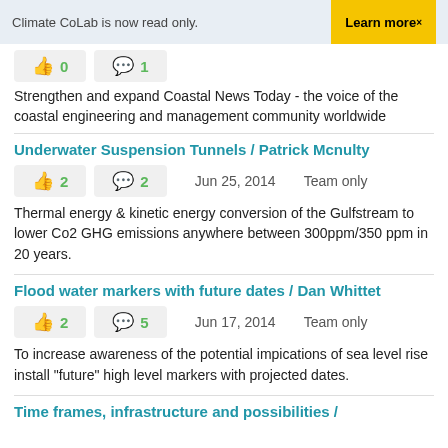Climate CoLab is now read only.  Learn more×
[Figure (screenshot): Partial icon row with thumbs up and speech bubble counts (cropped from previous article)]
Strengthen and expand Coastal News Today - the voice of the coastal engineering and management community worldwide
Underwater Suspension Tunnels / Patrick Mcnulty
👍 2   💬 2   Jun 25, 2014   Team only
Thermal energy & kinetic energy conversion of the Gulfstream to lower Co2 GHG emissions anywhere between 300ppm/350 ppm in 20 years.
Flood water markers with future dates / Dan Whittet
👍 2   💬 5   Jun 17, 2014   Team only
To increase awareness of the potential impications of sea level rise install "future" high level markers with projected dates.
Time frames, infrastructure and possibilities /